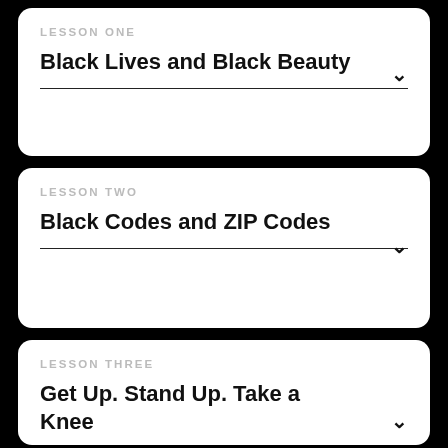LESSON ONE
Black Lives and Black Beauty
LESSON TWO
Black Codes and ZIP Codes
LESSON THREE
Get Up. Stand Up. Take a Knee